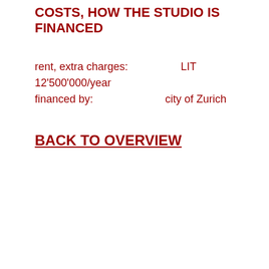COSTS, HOW THE STUDIO IS FINANCED
rent, extra charges:    LIT 12'500'000/year
financed by:           city of Zurich
BACK TO OVERVIEW